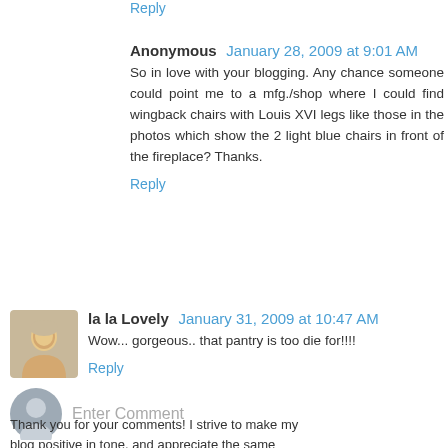Reply
Anonymous  January 28, 2009 at 9:01 AM
So in love with your blogging. Any chance someone could point me to a mfg./shop where I could find wingback chairs with Louis XVI legs like those in the photos which show the 2 light blue chairs in front of the fireplace? Thanks.
Reply
la la Lovely  January 31, 2009 at 10:47 AM
Wow... gorgeous.. that pantry is too die for!!!!
Reply
Enter Comment
Thank you for your comments! I strive to make my blog positive in tone, and appreciate the same